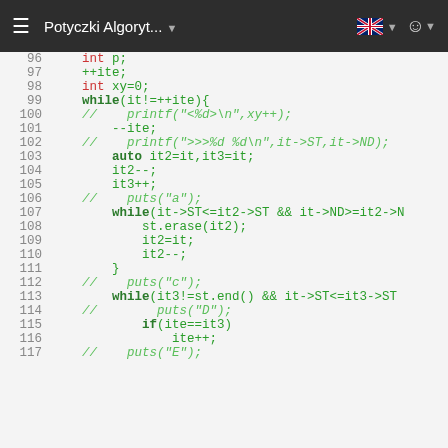Potyczki Algoryt...
[Figure (screenshot): C++ source code viewer showing lines 96-117 of an algorithm implementation, displayed on a dark-themed website 'Potyczki Algoryt...' with syntax highlighting. Keywords in bold green, types in red, comments in italic green, regular code in green on a light gray background.]